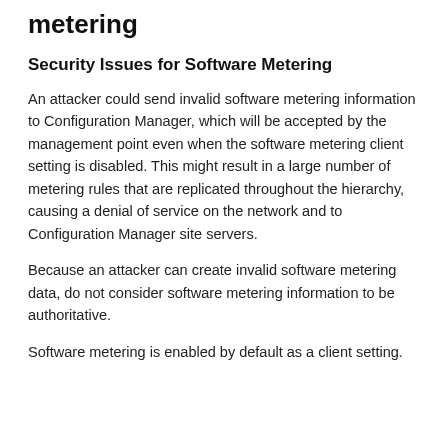metering
Security Issues for Software Metering
An attacker could send invalid software metering information to Configuration Manager, which will be accepted by the management point even when the software metering client setting is disabled. This might result in a large number of metering rules that are replicated throughout the hierarchy, causing a denial of service on the network and to Configuration Manager site servers.
Because an attacker can create invalid software metering data, do not consider software metering information to be authoritative.
Software metering is enabled by default as a client setting.